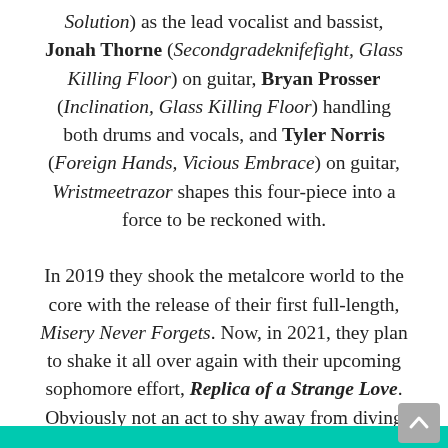Solution) as the lead vocalist and bassist, Jonah Thorne (Secondgradeknifefight, Glass Killing Floor) on guitar, Bryan Prosser (Inclination, Glass Killing Floor) handling both drums and vocals, and Tyler Norris (Foreign Hands, Vicious Embrace) on guitar, Wristmeetrazor shapes this four-piece into a force to be reckoned with.

In 2019 they shook the metalcore world to the core with the release of their first full-length, Misery Never Forgets. Now, in 2021, they plan to shake it all over again with their upcoming sophomore effort, Replica of a Strange Love. Obviously not an act to shy away from diving headfirst into theatrics, this new release is absolutely drenched in gothic